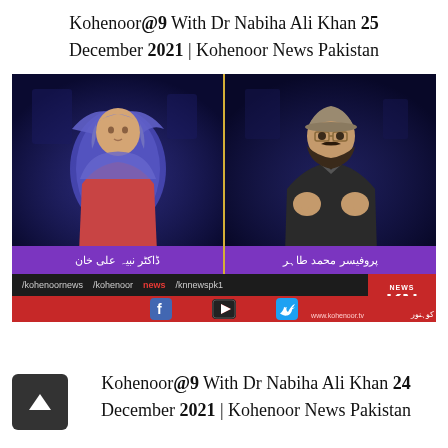Kohenoor@9 With Dr Nabiha Ali Khan 25 December 2021 | Kohenoor News Pakistan
[Figure (screenshot): TV news screenshot from Kohenoor News Pakistan showing two people on a split screen: a woman wearing a blue dupatta on the left and a bearded man with a cap on the right. Purple name bars at the bottom of each panel. Social media bar at the bottom with Facebook, YouTube, and Twitter icons, and Kohenoor News KN logo. Website: www.kohenoor.tv]
Kohenoor@9 With Dr Nabiha Ali Khan 24 December 2021 | Kohenoor News Pakistan